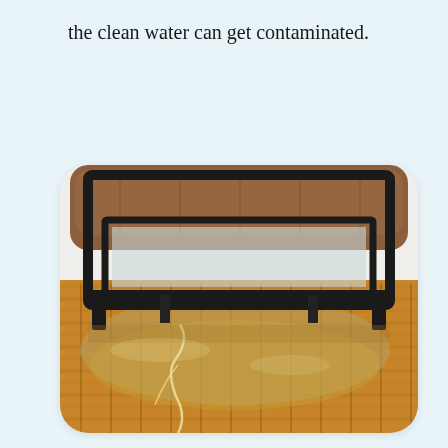the clean water can get contaminated.
[Figure (photo): A brown leather sofa with a black metal frame on a parquet wood floor that is flooded with water. Water is visible pooling around the sofa legs on the wooden floor.]